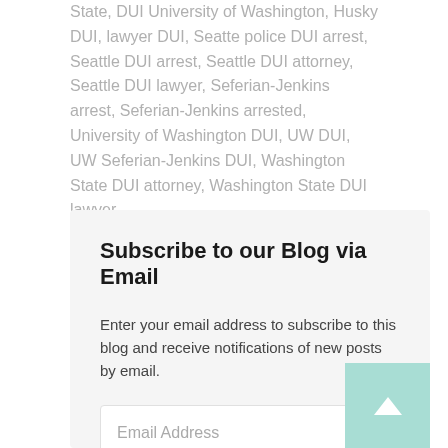State, DUI University of Washington, Husky DUI, lawyer DUI, Seatte police DUI arrest, Seattle DUI arrest, Seattle DUI attorney, Seattle DUI lawyer, Seferian-Jenkins arrest, Seferian-Jenkins arrested, University of Washington DUI, UW DUI, UW Seferian-Jenkins DUI, Washington State DUI attorney, Washington State DUI lawyer
Subscribe to our Blog via Email
Enter your email address to subscribe to this blog and receive notifications of new posts by email.